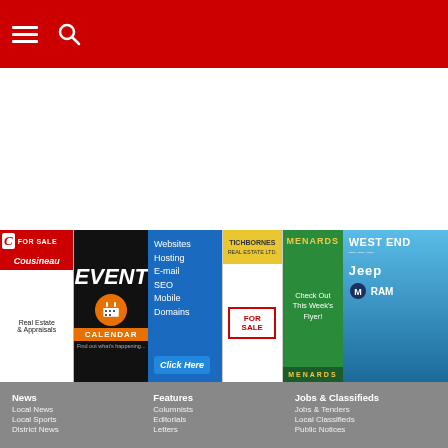Navigation header with hamburger menu and search icon
[Figure (infographic): Row of 6 advertisement banners: Cousineau Real Estate & Appraisals FOR SALE, Event Calendar, Websites Hosting E-mail SEO Mobile Domains Click Here, Tichbornes Real Estate FOR SALE, Menards Check Out This Week's Flyer!, West End Jeep RAM]
News
Local News
Local Sports
District News
Photo Gallery
Canada
World
National Business
National Sports
Features
Columnists
Editorials
Letters
Obituaries
Births
Events Calendar
Around Town
Jobs & Classifieds
Jobs & Tenders
Local Classifieds
Public Notices
Place a Classified
Advertise With Us
Become a Carrier!
Special Sections
About Us